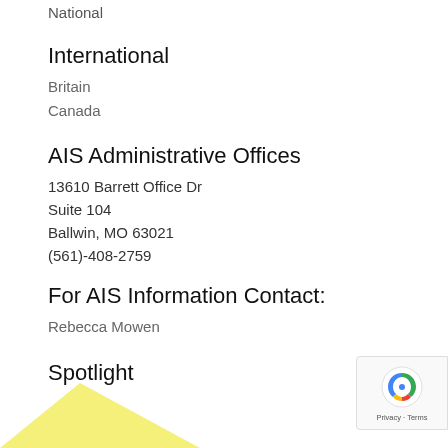National
International
Britain
Canada
AIS Administrative Offices
13610 Barrett Office Dr
Suite 104
Ballwin, MO 63021
(561)-408-2759
For AIS Information Contact:
Rebecca Mowen
Spotlight
[Figure (illustration): Yellow triangle shape partially visible at the bottom left of the page, and a reCAPTCHA widget in the bottom right corner]